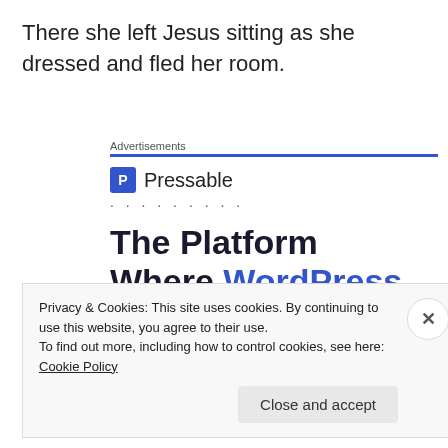There she left Jesus sitting as she dressed and fled her room.
Advertisements
[Figure (other): Pressable advertisement banner showing the Pressable logo (blue P icon) with text 'The Platform Where WordPress Works Best']
Privacy & Cookies: This site uses cookies. By continuing to use this website, you agree to their use.
To find out more, including how to control cookies, see here: Cookie Policy